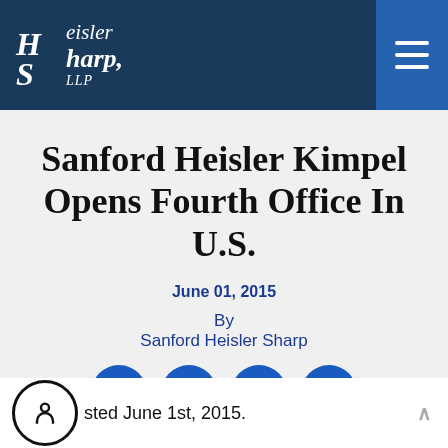Heisler Sharp, LLP
Sanford Heisler Kimpel Opens Fourth Office In U.S.
June 01, 2015
By
Sanford Heisler Sharp
[Figure (infographic): Social media share buttons: Facebook, Twitter, Pinterest, LinkedIn]
Posted June 1st, 2015.